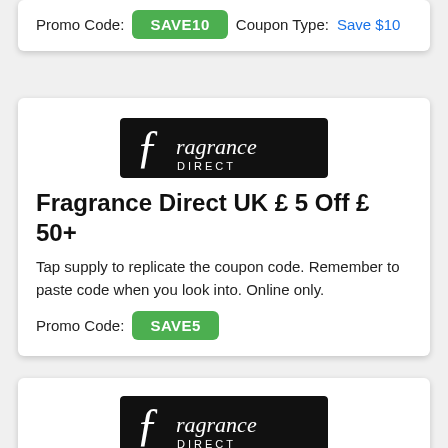Promo Code: SAVE10   Coupon Type: Save $10
[Figure (logo): Fragrance Direct logo — white script text on black background]
Fragrance Direct UK £ 5 Off £ 50+
Tap supply to replicate the coupon code. Remember to paste code when you look into. Online only.
Promo Code: SAVE5
[Figure (logo): Fragrance Direct logo — white script text on black background]